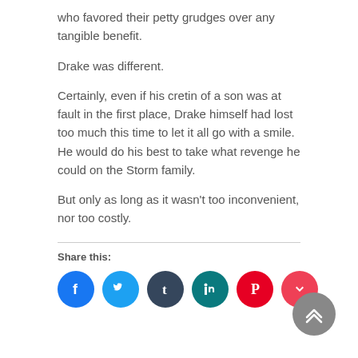who favored their petty grudges over any tangible benefit.
Drake was different.
Certainly, even if his cretin of a son was at fault in the first place, Drake himself had lost too much this time to let it all go with a smile. He would do his best to take what revenge he could on the Storm family.
But only as long as it wasn't too inconvenient, nor too costly.
Share this:
[Figure (infographic): Row of social media share icon buttons: Facebook, Twitter, Tumblr, LinkedIn, Pinterest, Pocket. Each is a colored circle with a white icon.]